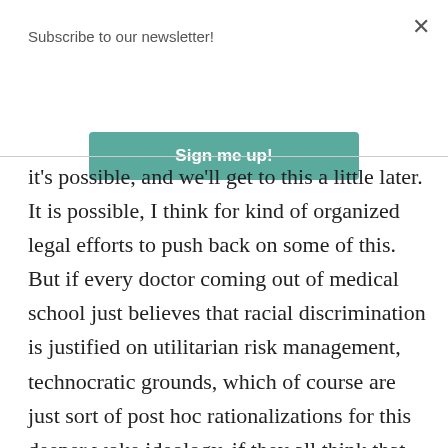Subscribe to our newsletter!
[Figure (other): Teal 'Sign me up!' button for newsletter subscription]
it's possible, and we'll get to this a little later. It is possible, I think for kind of organized legal efforts to push back on some of this. But if every doctor coming out of medical school just believes that racial discrimination is justified on utilitarian risk management, technocratic grounds, which of course are just sort of post hoc rationalizations for this deeper woke ideology, if they all think that, then it's going to be pretty hard, I think for